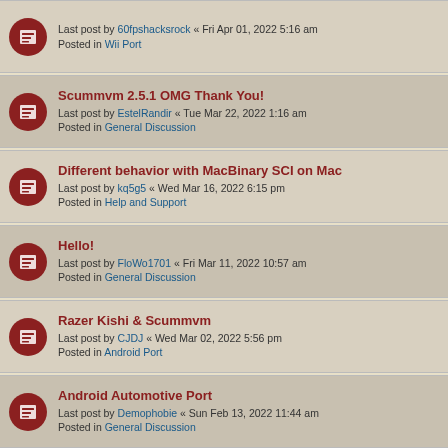Last post by 60fpshacksrock « Fri Apr 01, 2022 5:16 am
Posted in Wii Port
Scummvm 2.5.1 OMG Thank You!
Last post by EstelRandir « Tue Mar 22, 2022 1:16 am
Posted in General Discussion
Different behavior with MacBinary SCI on Mac
Last post by kq5g5 « Wed Mar 16, 2022 6:15 pm
Posted in Help and Support
Hello!
Last post by FloWo1701 « Fri Mar 11, 2022 10:57 am
Posted in General Discussion
Razer Kishi & Scummvm
Last post by CJDJ « Wed Mar 02, 2022 5:56 pm
Posted in Android Port
Android Automotive Port
Last post by Demophobie « Sun Feb 13, 2022 11:44 am
Posted in General Discussion
deleted post
Last post by MarkAmiga500 « Sat Feb 12, 2022 5:51 am
Posted in The Junkyard
Wish scummvm commandline not to lose the info of game settings
Last post by UFO « Thu Feb 04, 2022 8:05 am
Posted in General Discussion
FAN MADE: The lost Adventure of Monkey Island
Last post by martocapo « Sat Jan 01, 2022 8:15 pm
This website uses cookies to ensure you get the best experience on our website. Learn more
Got it!